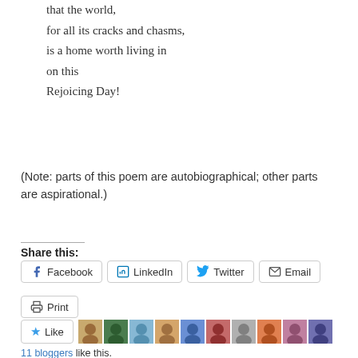that the world,
for all its cracks and chasms,
is a home worth living in
on this
Rejoicing Day!
(Note: parts of this poem are autobiographical; other parts are aspirational.)
Share this:
Facebook  LinkedIn  Twitter  Email  Print
Like
11 bloggers like this.